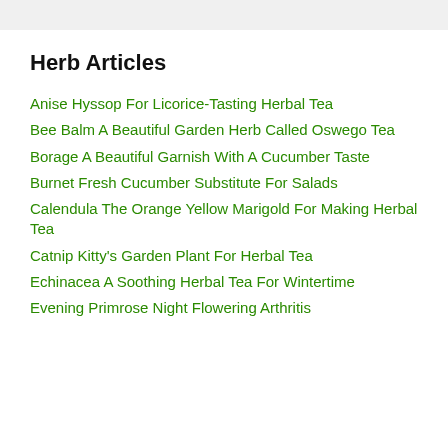Herb Articles
Anise Hyssop For Licorice-Tasting Herbal Tea
Bee Balm A Beautiful Garden Herb Called Oswego Tea
Borage A Beautiful Garnish With A Cucumber Taste
Burnet Fresh Cucumber Substitute For Salads
Calendula The Orange Yellow Marigold For Making Herbal Tea
Catnip Kitty's Garden Plant For Herbal Tea
Echinacea A Soothing Herbal Tea For Wintertime
Evening Primrose Night Flowering Arthritis